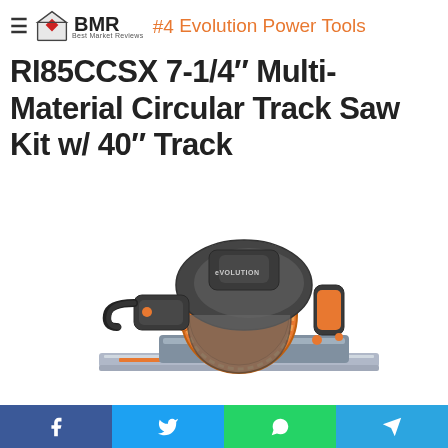#4 Evolution Power Tools
RI85CCSX 7-1/4″ Multi-Material Circular Track Saw Kit w/ 40″ Track
[Figure (photo): Evolution brand circular track saw with orange blade and grey body, shown on a grey track rail]
Social share buttons: Facebook, Twitter, WhatsApp, Telegram